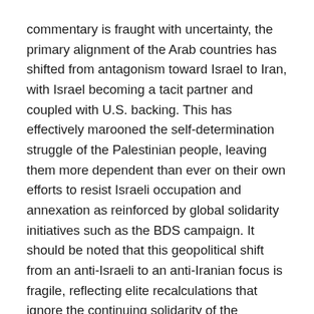commentary is fraught with uncertainty, the primary alignment of the Arab countries has shifted from antagonism toward Israel to Iran, with Israel becoming a tacit partner and coupled with U.S. backing. This has effectively marooned the self-determination struggle of the Palestinian people, leaving them more dependent than ever on their own efforts to resist Israeli occupation and annexation as reinforced by global solidarity initiatives such as the BDS campaign. It should be noted that this geopolitical shift from an anti-Israeli to an anti-Iranian focus is fragile, reflecting elite recalculations that ignore the continuing solidarity of the citizenries of the Arab countries with the Palestinian struggle.
The various Asian regions have also shifted their policy